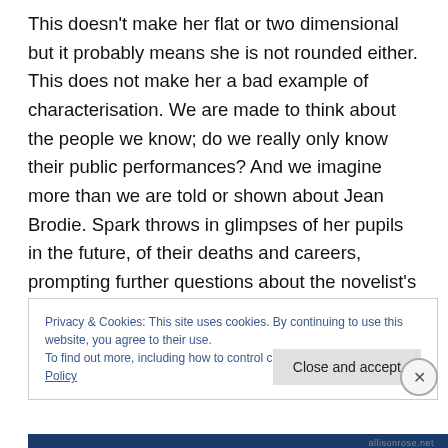This doesn't make her flat or two dimensional but it probably means she is not rounded either. This does not make her a bad example of characterisation. We are made to think about the people we know; do we really only know their public performances? And we imagine more than we are told or shown about Jean Brodie. Spark throws in glimpses of her pupils in the future, of their deaths and careers, prompting further questions about the novelist's power and Brodie's desire to manipulate. So we know aspects of her behaviour.
Privacy & Cookies: This site uses cookies. By continuing to use this website, you agree to their use.
To find out more, including how to control cookies, see here: Cookie Policy